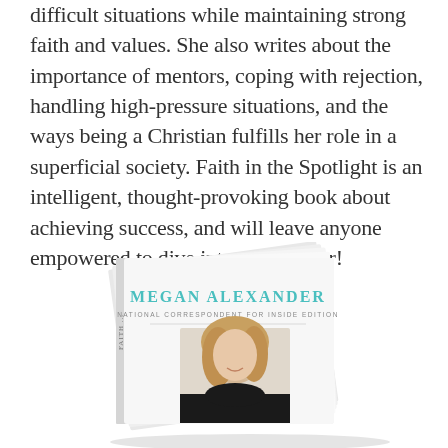difficult situations while maintaining strong faith and values. She also writes about the importance of mentors, coping with rejection, handling high-pressure situations, and the ways being a Christian fulfills her role in a superficial society. Faith in the Spotlight is an intelligent, thought-provoking book about achieving success, and will leave anyone empowered to dive into their career!
[Figure (photo): A book cover for 'Faith in the Spotlight' by Megan Alexander, National Correspondent for Inside Edition. The book is shown at an angle, with a photo of Megan Alexander (a blonde woman in a black outfit) on the cover.]